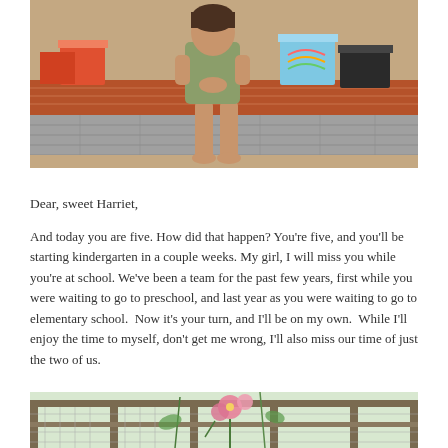[Figure (photo): A child sitting on a brick step/ledge with wrapped birthday presents around her, barefoot, wearing a patterned dress. Terra cotta tile flooring visible.]
Dear, sweet Harriet,
And today you are five. How did that happen? You're five, and you'll be starting kindergarten in a couple weeks. My girl, I will miss you while you're at school. We've been a team for the past few years, first while you were waiting to go to preschool, and last year as you were waiting to go to elementary school.  Now it's your turn, and I'll be on my own.  While I'll enjoy the time to myself, don't get me wrong, I'll also miss our time of just the two of us.
[Figure (photo): Garden scene with pink flowers (hollyhocks) growing near a weathered wooden fence or window frame with mesh/wire.]